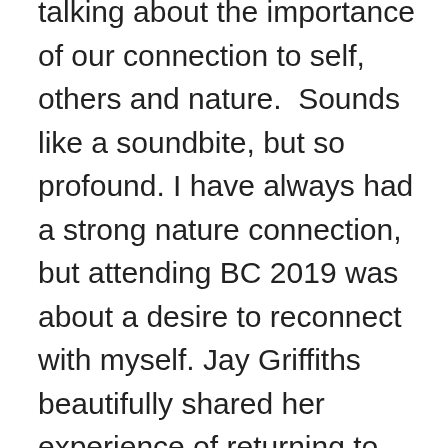talking about the importance of our connection to self, others and nature.  Sounds like a soundbite, but so profound. I have always had a strong nature connection, but attending BC 2019 was about a desire to reconnect with myself. Jay Griffiths beautifully shared her experience of returning to Oxford where she had studied, but now as a panther and how different Oxford looks from the perspective of a panther. Andy Letcher's Ontological Anarchy and the Ecological Self sounded pretentious, but it was far from it in content and delivery. Andy or one of the other speakers noted the